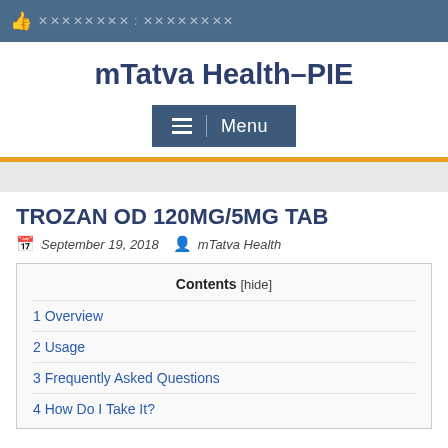❂ xxxxxxxx: xxxxxxxx
mTatva Health–PIE
[Figure (other): Navigation menu button with hamburger icon and 'Menu' label on dark blue background]
TROZAN OD 120MG/5MG TAB
September 19, 2018   mTatva Health
Contents [hide]
1 Overview
2 Usage
3 Frequently Asked Questions
4 How Do I Take It?